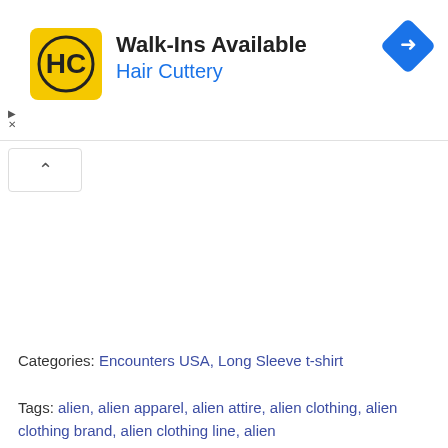[Figure (logo): Hair Cuttery advertisement banner with HC yellow logo, 'Walk-Ins Available' heading, 'Hair Cuttery' subtitle in blue, navigation diamond icon top right, play and close controls bottom left of ad]
Categories: Encounters USA, Long Sleeve t-shirt
Tags: alien, alien apparel, alien attire, alien clothing, alien clothing brand, alien clothing line, alien